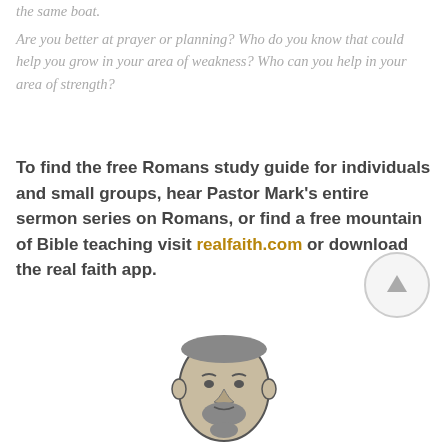the same boat.
Are you better at prayer or planning? Who do you know that could help you grow in your area of weakness? Who can you help in your area of strength?
To find the free Romans study guide for individuals and small groups, hear Pastor Mark's entire sermon series on Romans, or find a free mountain of Bible teaching visit realfaith.com or download the real faith app.
[Figure (illustration): Illustrated cartoon face of a man with beard and short hair, drawn in a simple line art style with light shading]